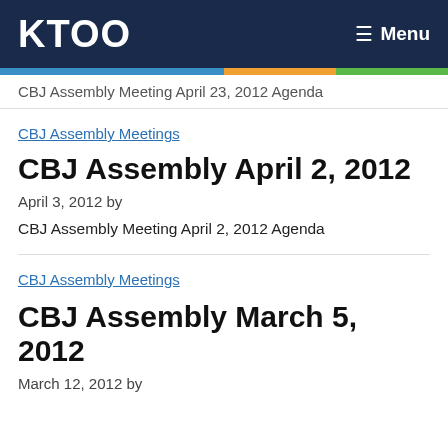KTOO   Menu
CBJ Assembly Meeting April 23, 2012 Agenda
CBJ Assembly Meetings
CBJ Assembly April 2, 2012
April 3, 2012 by
CBJ Assembly Meeting April 2, 2012 Agenda
CBJ Assembly Meetings
CBJ Assembly March 5, 2012
March 12, 2012 by